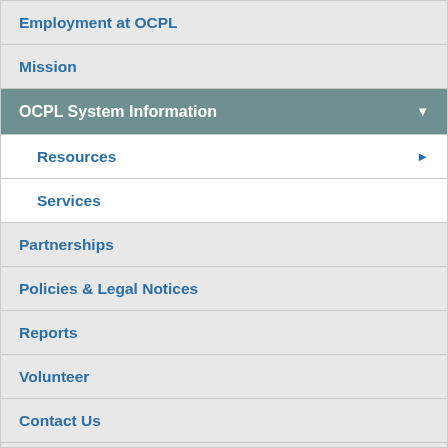Employment at OCPL
Mission
OCPL System Information
Resources
Services
Partnerships
Policies & Legal Notices
Reports
Volunteer
Contact Us
Reader's Corner
Youth Resources